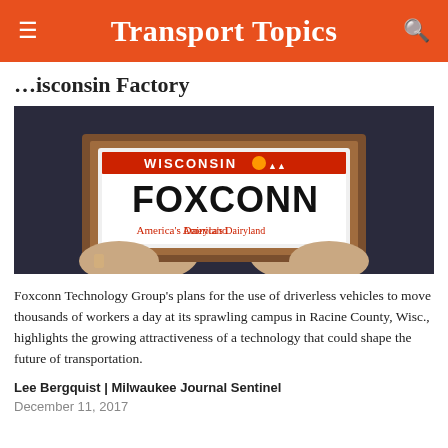Transport Topics
…isconsin Factory
[Figure (photo): Person holding a framed Wisconsin license plate reading 'FOXCONN' with 'America's Dairyland' tagline]
Foxconn Technology Group's plans for the use of driverless vehicles to move thousands of workers a day at its sprawling campus in Racine County, Wisc., highlights the growing attractiveness of a technology that could shape the future of transportation.
Lee Bergquist | Milwaukee Journal Sentinel
December 11, 2017